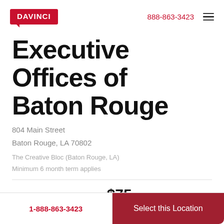DAVINCI | 888-863-3423
Executive Offices of Baton Rouge
804 Main Street
Baton Rouge, LA 70802
The Creative Bloc (Baton Rouge, LA)
Minimum 6 month term applies
Promo: $75/mo
$199 $150 One-time Setup Fee
1-888-863-3423
Select this Location